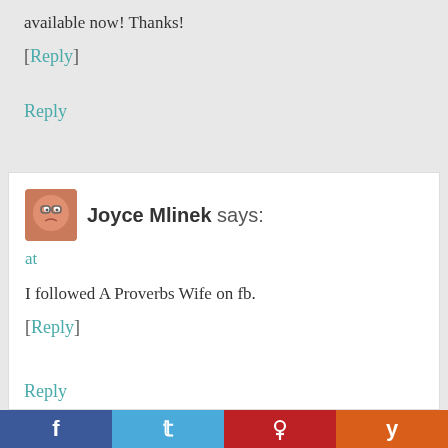available now! Thanks!
[Reply]
Reply
Joyce Mlinek says:
at
I followed A Proverbs Wife on fb.
[Reply]
Reply